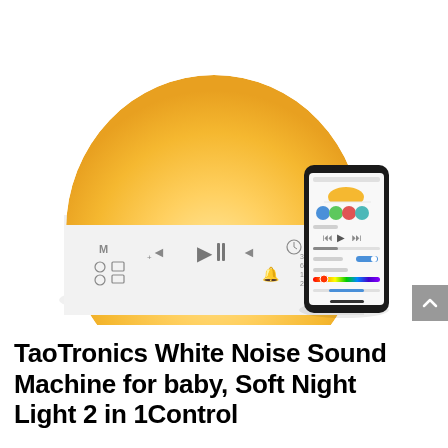[Figure (photo): TaoTronics White Noise Sound Machine device — a dome-shaped night light with warm amber/yellow glow on top and white base with control buttons, shown alongside a smartphone displaying the companion app interface with color circles, playback controls, and a color spectrum slider.]
TaoTronics White Noise Sound Machine for baby, Soft Night Light 2 in 1Control